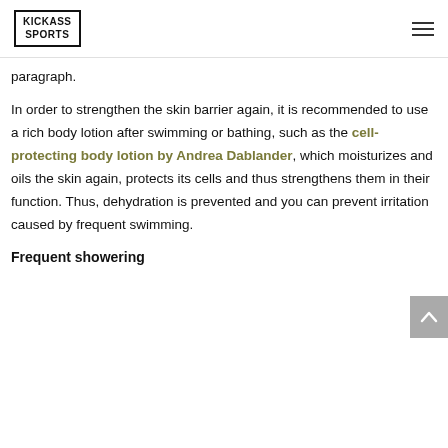KICKASS SPORTS
paragraph.
In order to strengthen the skin barrier again, it is recommended to use a rich body lotion after swimming or bathing, such as the cell-protecting body lotion by Andrea Dablander, which moisturizes and oils the skin again, protects its cells and thus strengthens them in their function. Thus, dehydration is prevented and you can prevent irritation caused by frequent swimming.
Frequent showering